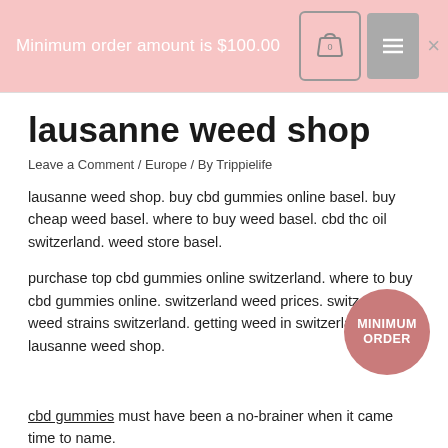Minimum order amount is $100.00
lausanne weed shop
Leave a Comment / Europe / By Trippielife
lausanne weed shop. buy cbd gummies online basel. buy cheap weed basel. where to buy weed basel. cbd thc oil switzerland. weed store basel.
purchase top cbd gummies online switzerland. where to buy cbd gummies online. switzerland weed prices. switzerland weed strains switzerland. getting weed in switzerland. lausanne weed shop.
cbd gummies must have been a no-brainer when it came time to name.